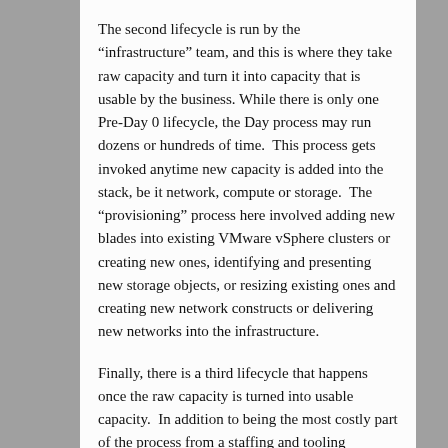The second lifecycle is run by the “infrastructure” team, and this is where they take raw capacity and turn it into capacity that is usable by the business. While there is only one Pre-Day 0 lifecycle, the Day process may run dozens or hundreds of time. This process gets invoked anytime new capacity is added into the stack, be it network, compute or storage. The “provisioning” process here involved adding new blades into existing VMware vSphere clusters or creating new ones, identifying and presenting new storage objects, or resizing existing ones and creating new network constructs or delivering new networks into the infrastructure.
Finally, there is a third lifecycle that happens once the raw capacity is turned into usable capacity. In addition to being the most costly part of the process from a staffing and tooling perspective, this is also where traditional hardware vendors take